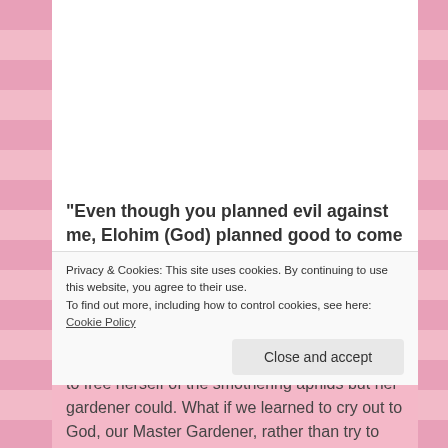“Even though you planned evil against me, Elohim (God) planned good to come out of it.” Genesis 50:20
Furthermore, suppose the oppressed rose bud was crying out to you, the master gardener, to rescue her from such bondage. She was unable to free herself of the smothering aphids but her gardener could. What if we learned to cry out to God, our Master Gardener, rather than try to fight off
Privacy & Cookies: This site uses cookies. By continuing to use this website, you agree to their use.
To find out more, including how to control cookies, see here: Cookie Policy